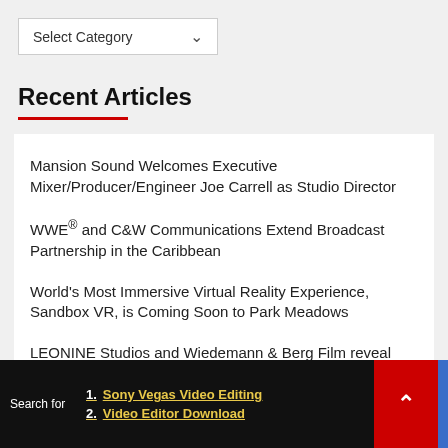Select Category
Recent Articles
Mansion Sound Welcomes Executive Mixer/Producer/Engineer Joe Carrell as Studio Director
WWE® and C&W Communications Extend Broadcast Partnership in the Caribbean
World's Most Immersive Virtual Reality Experience, Sandbox VR, is Coming Soon to Park Meadows
LEONINE Studios and Wiedemann & Berg Film reveal first look on Milli Vanilli biopic GIRL YOU KNOW IT'S TRUE
Search for
1. Sony Vegas Video Editing
2. Video Editor Download